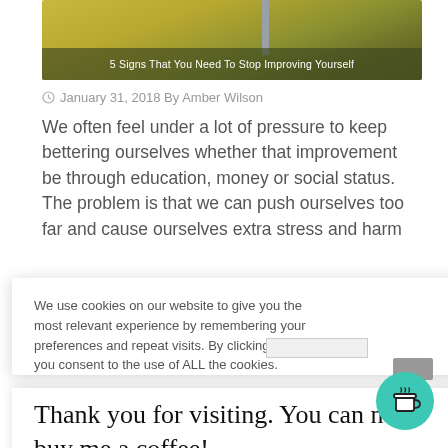[Figure (photo): Hero image of a field with a post/pole, with overlay text reading '5 Signs That You Need To Stop Improving Yourself']
5 Signs That You Need To Stop Improving Yourself
January 31, 2018 By Amber Wilson
We often feel under a lot of pressure to keep bettering ourselves whether that improvement be through education, money or social status. The problem is that we can push ourselves too far and cause ourselves extra stress and harm
We use cookies on our website to give you the most relevant experience by remembering your preferences and repeat visits. By clicking “Accept”, you consent to the use of ALL the cookies.
Thank you for visiting. You can now buy me a coffee!
[Figure (illustration): Teal circular button with a coffee cup icon]
Cash